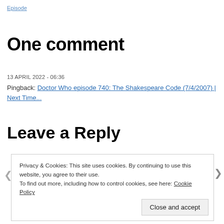Episode
One comment
13 APRIL 2022 - 06:36
Pingback: Doctor Who episode 740: The Shakespeare Code (7/4/2007) | Next Time...
Leave a Reply
Privacy & Cookies: This site uses cookies. By continuing to use this website, you agree to their use.
To find out more, including how to control cookies, see here: Cookie Policy
Close and accept